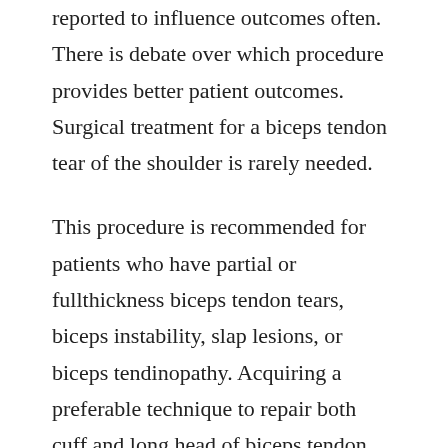reported to influence outcomes often. There is debate over which procedure provides better patient outcomes. Surgical treatment for a biceps tendon tear of the shoulder is rarely needed.
This procedure is recommended for patients who have partial or fullthickness biceps tendon tears, biceps instability, slap lesions, or biceps tendinopathy. Acquiring a preferable technique to repair both cuff and long head of biceps tendon lhbt lesions was the aim of several recent studies. In this blog post, we are going to share a free pdf download of atlas